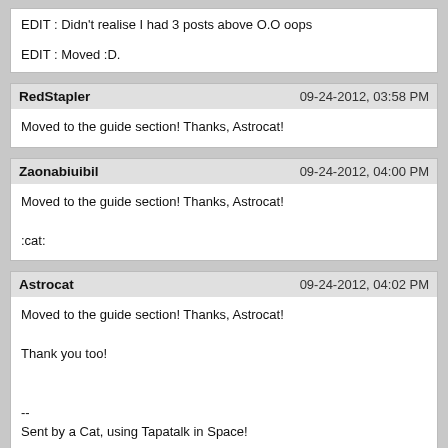EDIT : Didn't realise I had 3 posts above O.O oops
EDIT : Moved :D.
RedStapler | 09-24-2012, 03:58 PM
Moved to the guide section! Thanks, Astrocat!
Zaonabiuibil | 09-24-2012, 04:00 PM
Moved to the guide section! Thanks, Astrocat!
:cat:
Astrocat | 09-24-2012, 04:02 PM
Moved to the guide section! Thanks, Astrocat!
Thank you too!
--
Sent by a Cat, using Tapatalk in Space!
octavos | 09-24-2012, 04:02 PM
thanks for guide cat...but how do i get there (got there by accident by ghost)...i try to join a game but i cant play on an alt..... DISAPPOINTED XD
http://www.youtube.com/watch?v=_O1hM-k3aUY